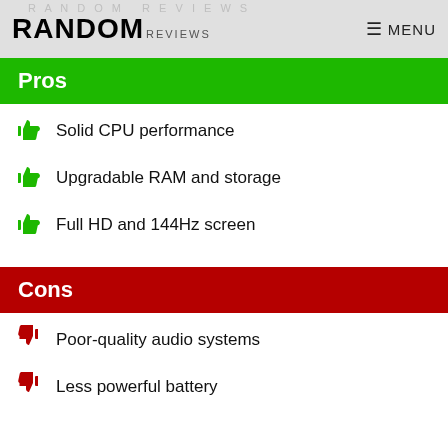RANDOM REVIEWS  MENU
Pros
Solid CPU performance
Upgradable RAM and storage
Full HD and 144Hz screen
Cons
Poor-quality audio systems
Less powerful battery